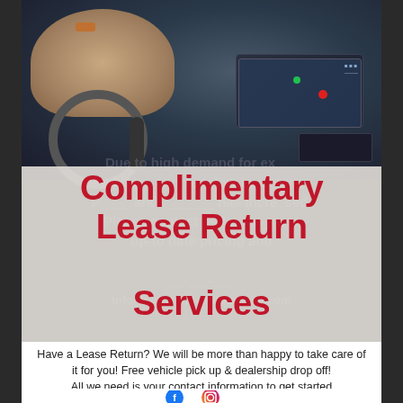[Figure (photo): Close-up photo of a person's hands on a car steering wheel and gear shift, with dashboard visible in background]
Complimentary Lease Return Services
Have a Lease Return? We will be more than happy to take care of it for you!  Free vehicle pick up & dealership drop off!
All we need is your contact information to get started
[Figure (illustration): Facebook and Instagram social media icons]